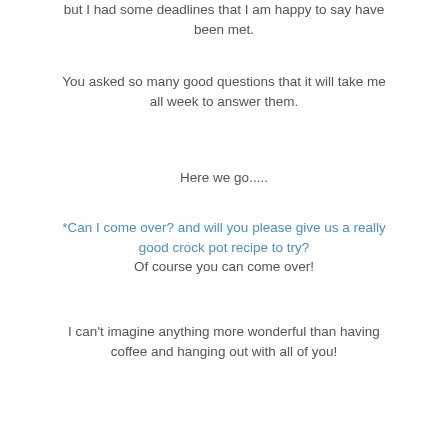but I had some deadlines that I am happy to say have been met.
You asked so many good questions that it will take me all week to answer them.
Here we go.....
*Can I come over? and will you please give us a really good crock pot recipe to try?
Of course you can come over!
I can't imagine anything more wonderful than having coffee and hanging out with all of you!